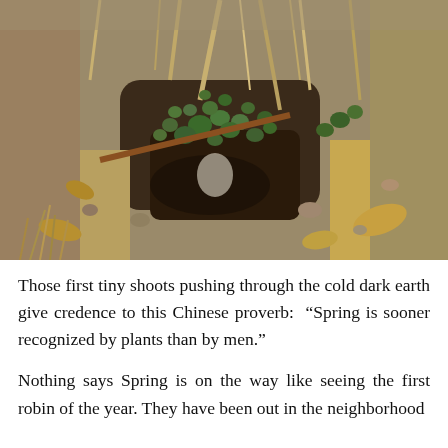[Figure (photo): A photograph of early spring plant shoots pushing through cold dark earth, surrounded by dry grass, dead leaves, and dry brown stems. Small green buds and shoots are visible amid the winter debris.]
Those first tiny shoots pushing through the cold dark earth give credence to this Chinese proverb:  “Spring is sooner recognized by plants than by men.”
Nothing says Spring is on the way like seeing the first robin of the year. They have been out in the neighborhood